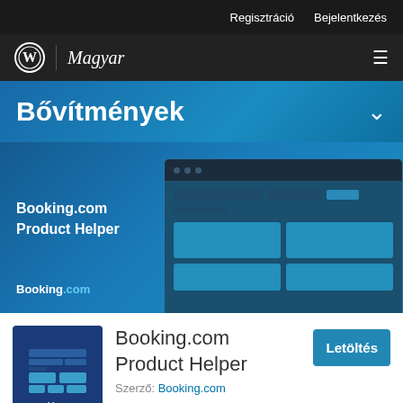Regisztráció   Bejelentkezés
Magyar
Bővítmények
[Figure (screenshot): Booking.com Product Helper plugin banner with a mock browser window preview showing a grid layout interface]
[Figure (logo): Booking.com Product Helper plugin icon with grid layout illustration and Booking.com branding]
Booking.com Product Helper
Szerző: Booking.com
Letöltés